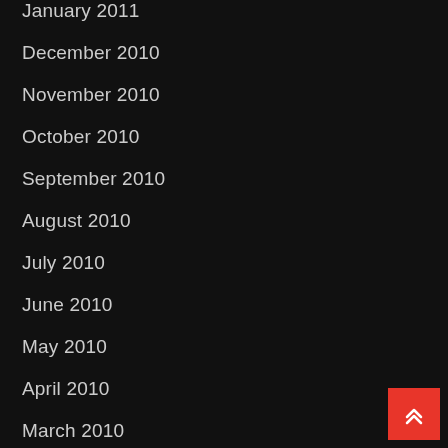January 2011
December 2010
November 2010
October 2010
September 2010
August 2010
July 2010
June 2010
May 2010
April 2010
March 2010
February 2010
January 2010
November 2009